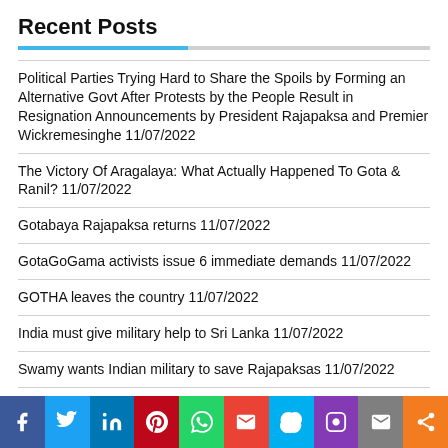Recent Posts
Political Parties Trying Hard to Share the Spoils by Forming an Alternative Govt After Protests by the People Result in Resignation Announcements by President Rajapaksa and Premier Wickremesinghe 11/07/2022
The Victory Of Aragalaya: What Actually Happened To Gota & Ranil? 11/07/2022
Gotabaya Rajapaksa returns 11/07/2022
GotaGoGama activists issue 6 immediate demands 11/07/2022
GOTHA leaves the country 11/07/2022
India must give military help to Sri Lanka 11/07/2022
Swamy wants Indian military to save Rajapaksas 11/07/2022